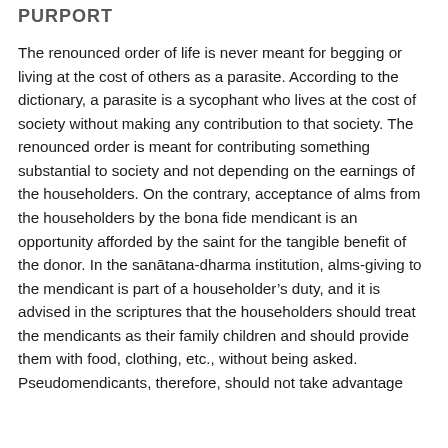PURPORT
The renounced order of life is never meant for begging or living at the cost of others as a parasite. According to the dictionary, a parasite is a sycophant who lives at the cost of society without making any contribution to that society. The renounced order is meant for contributing something substantial to society and not depending on the earnings of the householders. On the contrary, acceptance of alms from the householders by the bona fide mendicant is an opportunity afforded by the saint for the tangible benefit of the donor. In the sanātana-dharma institution, alms-giving to the mendicant is part of a householder's duty, and it is advised in the scriptures that the householders should treat the mendicants as their family children and should provide them with food, clothing, etc., without being asked. Pseudomendicants, therefore, should not take advantage